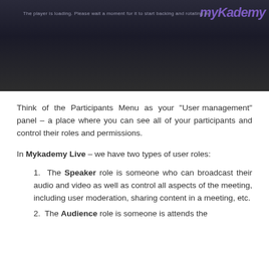[Figure (screenshot): Dark video player screenshot showing a loading/buffering state with 'myKademy' logo visible in purple/violet text at top right and a status message about the player loading.]
Think of the Participants Menu as your “User management” panel – a place where you can see all of your participants and control their roles and permissions.
In Mykademy Live – we have two types of user roles:
The Speaker role is someone who can broadcast their audio and video as well as control all aspects of the meeting, including user moderation, sharing content in a meeting, etc.
The Audience role is someone is attends the